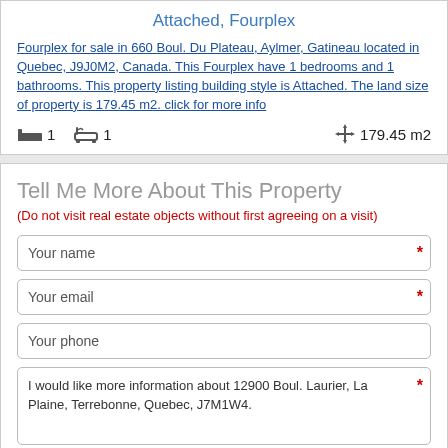Attached, Fourplex
Fourplex for sale in 660 Boul. Du Plateau, Aylmer, Gatineau located in Quebec, J9J0M2, Canada. This Fourplex have 1 bedrooms and 1 bathrooms. This property listing building style is Attached. The land size of property is 179.45 m2. click for more info
1  1  179.45 m2
Tell Me More About This Property
(Do not visit real estate objects without first agreeing on a visit)
Your name
Your email
Your phone
I would like more information about 12900 Boul. Laurier, La Plaine, Terrebonne, Quebec, J7M1W4.